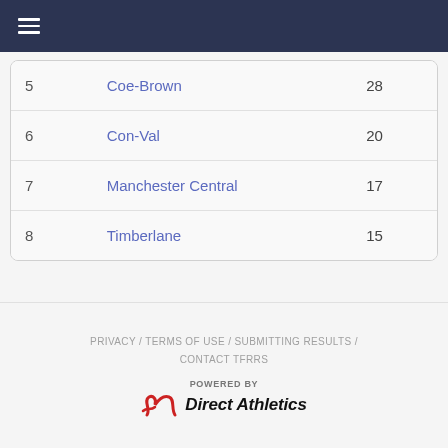Navigation bar with hamburger menu
| Place | Team | Score |
| --- | --- | --- |
| 5 | Coe-Brown | 28 |
| 6 | Con-Val | 20 |
| 7 | Manchester Central | 17 |
| 8 | Timberlane | 15 |
PRIVACY / TERMS OF USE / SUBMITTING RESULTS / CONTACT TFRRS
POWERED BY Direct Athletics